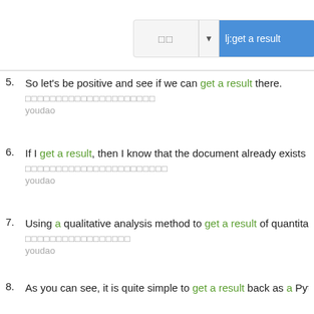[Figure (screenshot): Search bar UI element with Chinese text, dropdown arrow, and highlighted text 'lj:get a result' in blue]
5. So let's be positive and see if we can get a result there.
[Chinese translation]
youdao
6. If I get a result, then I know that the document already exists in the in…
[Chinese translation]
youdao
7. Using a qualitative analysis method to get a result of quantitative anal…
[Chinese translation]
youdao
8. As you can see, it is quite simple to get a result back as a Python dat…
[Chinese translation]
youdao